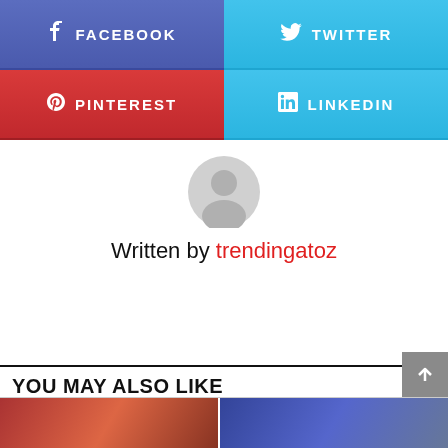[Figure (infographic): Social share buttons: Facebook (blue-purple), Twitter (light blue), Pinterest (red), LinkedIn (light blue)]
[Figure (infographic): Default author avatar silhouette in grey]
Written by trendingatoz
YOU MAY ALSO LIKE